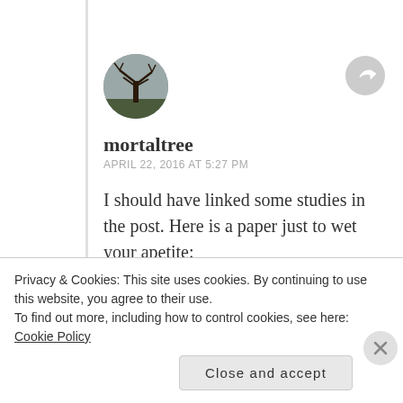[Figure (photo): Circular avatar photo of a bare tree against a gray sky]
mortaltree
APRIL 22, 2016 AT 5:27 PM
I should have linked some studies in the post. Here is a paper just to wet your apetite:
http://intelegen.com/immunesystem/oregano_oil.htm
Privacy & Cookies: This site uses cookies. By continuing to use this website, you agree to their use.
To find out more, including how to control cookies, see here: Cookie Policy
Close and accept